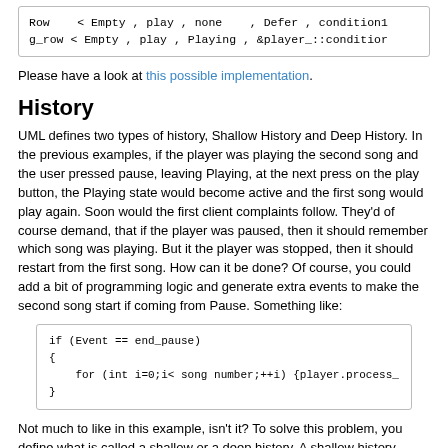| Row    < Empty , play , none    , Defer , condition1 |
| g_row < Empty , play , Playing , &player_::conditior |
Please have a look at this possible implementation.
History
UML defines two types of history, Shallow History and Deep History. In the previous examples, if the player was playing the second song and the user pressed pause, leaving Playing, at the next press on the play button, the Playing state would become active and the first song would play again. Soon would the first client complaints follow. They'd of course demand, that if the player was paused, then it should remember which song was playing. But it the player was stopped, then it should restart from the first song. How can it be done? Of course, you could add a bit of programming logic and generate extra events to make the second song start if coming from Pause. Something like:
| if (Event == end_pause) |
| { |
|     for (int i=0;i< song number;++i) {player.process_ |
| } |
Not much to like in this example, isn't it? To solve this problem, you define what is called a shallow or a deep history. A shallow history reactivates the last active substate of a submachine when this